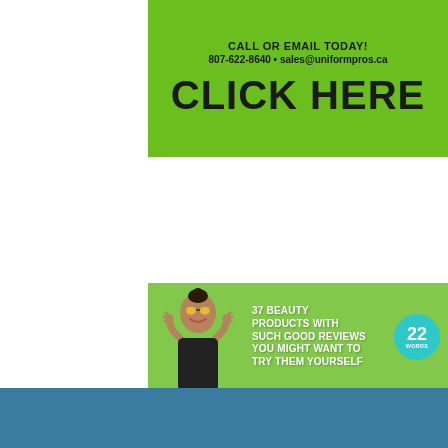[Figure (infographic): Green advertisement banner for uniformpros.ca with text 'CALL OR EMAIL TODAY! 807-622-8640 • sales@uniformpros.ca' and large 'CLICK HERE' button]
[Figure (infographic): Green advertisement banner '37 BEAUTY PRODUCTS WITH SUCH GOOD REVIEWS YOU MIGHT WANT TO TRY THEM YOURSELF' with smiling woman and '22 WORDS' teal badge]